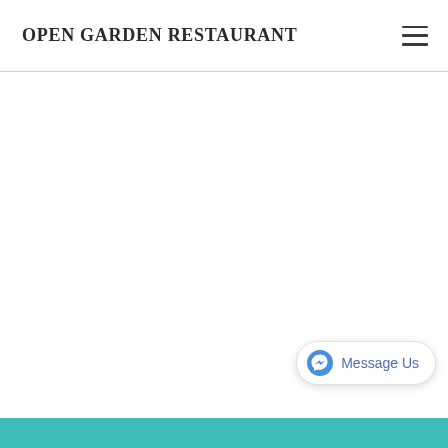OPEN GARDEN RESTAURANT
[Figure (other): Hamburger menu icon (three horizontal lines) in the top right of the header]
[Figure (other): Facebook Messenger 'Message Us' button widget in the bottom right corner]